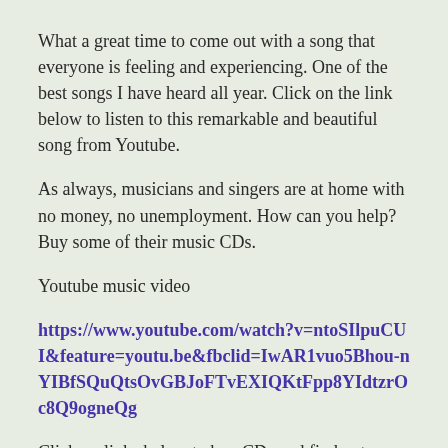What a great time to come out with a song that everyone is feeling and experiencing. One of the best songs I have heard all year. Click on the link below to listen to this remarkable and beautiful song from Youtube.
As always, musicians and singers are at home with no money, no unemployment. How can you help? Buy some of their music CDs.
Youtube music video
https://www.youtube.com/watch?v=ntoSIlpuCUI&feature=youtu.be&fbclid=IwAR1vuo5Bhou-nYIBfSQuQtsOvGBJoFTvEXIQKtFpp8YIdtzrOc8Q9ogneQg
Click on links below to buy CDs and find out more about Chris Mann!